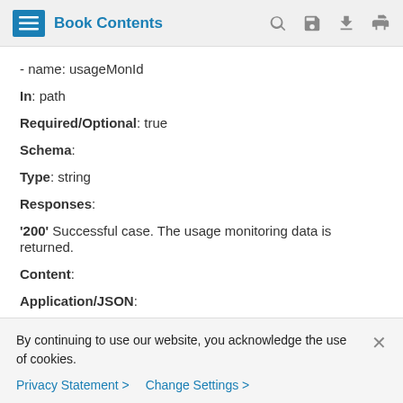Book Contents
- name: usageMonId
In: path
Required/Optional: true
Schema:
Type: string
Responses:
'200' Successful case. The usage monitoring data is returned.
Content:
Application/JSON:
By continuing to use our website, you acknowledge the use of cookies.
Privacy Statement > Change Settings >